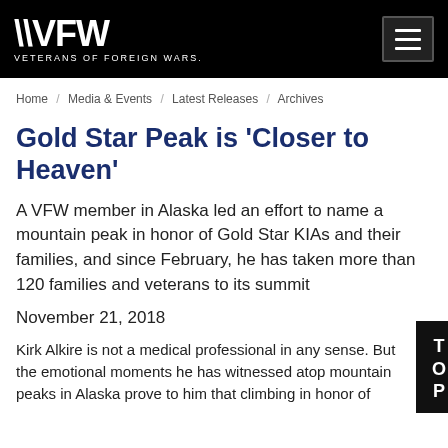VFW VETERANS OF FOREIGN WARS.
Home / Media & Events / Latest Releases / Archives
Gold Star Peak is 'Closer to Heaven'
A VFW member in Alaska led an effort to name a mountain peak in honor of Gold Star KIAs and their families, and since February, he has taken more than 120 families and veterans to its summit
November 21, 2018
Kirk Alkire is not a medical professional in any sense. But the emotional moments he has witnessed atop mountain peaks in Alaska prove to him that climbing in honor of fallen members changes those attending